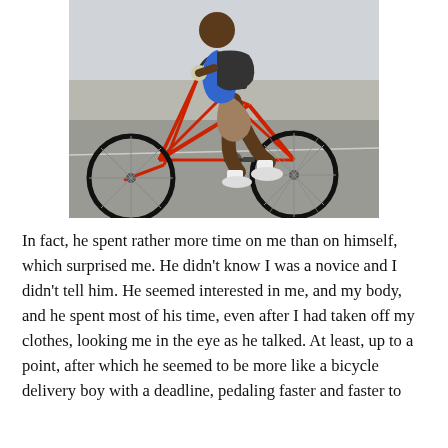[Figure (photo): A person wearing a blue shirt, khaki shorts, white socks and sneakers, and gloves, riding a red road bicycle on a paved road. They are carrying a dark backpack. The photo is taken from the side showing the full bicycle and the rider's lower and mid body.]
In fact, he spent rather more time on me than on himself, which surprised me. He didn't know I was a novice and I didn't tell him. He seemed interested in me, and my body, and he spent most of his time, even after I had taken off my clothes, looking me in the eye as he talked. At least, up to a point, after which he seemed to be more like a bicycle delivery boy with a deadline, pedaling faster and faster to